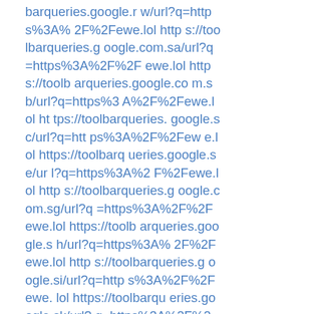barqueries.google.rw/url?q=https%3A%2F%2Fewe.lol https://toolbarqueries.google.com.sa/url?q=https%3A%2F%2Fewe.lol https://toolbarqueries.google.com.sb/url?q=https%3A%2F%2Fewe.lol https://toolbarqueries.google.sc/url?q=https%3A%2F%2Fewe.lol https://toolbarqueries.google.se/url?q=https%3A%2F%2Fewe.lol https://toolbarqueries.google.com.sg/url?q=https%3A%2F%2Fewe.lol https://toolbarqueries.google.sh/url?q=https%3A%2F%2Fewe.lol https://toolbarqueries.google.si/url?q=https%3A%2F%2Fewe.lol https://toolbarqueries.google.sk/url?q=https%3A%2F%2F%2